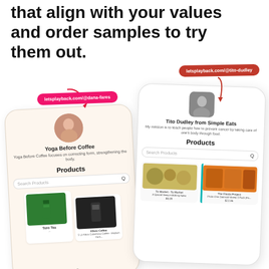that align with your values and order samples to try them out.
[Figure (screenshot): Two mobile app screenshots showing letsplayback.com creator pages. Left: letsplayback.com/@dana-fares showing 'Yoga Before Coffee' brand with products including Tazo Tea and Kikox Coffee. Right: letsplayback.com/@tito-dudley showing 'Tito Dudley from Simple Eats' with products including To Market To Market spices and The Fiesta Project Pirole Chix Oatmeal.]